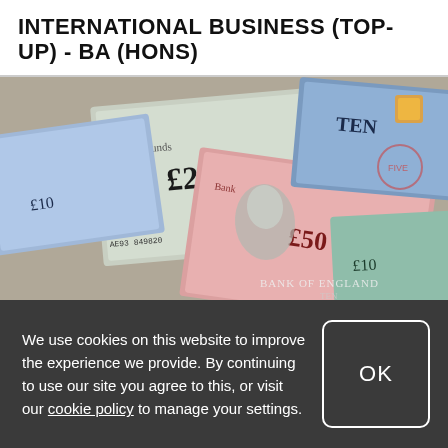INTERNATIONAL BUSINESS (TOP-UP) - BA (HONS)
[Figure (photo): A close-up photograph of various British pound banknotes (£10, £20, £50) spread out, showing Queen Elizabeth II portraits and Bank of England text.]
Financial Support
We use cookies on this website to improve the experience we provide. By continuing to use our site you agree to this, or visit our cookie policy to manage your settings.